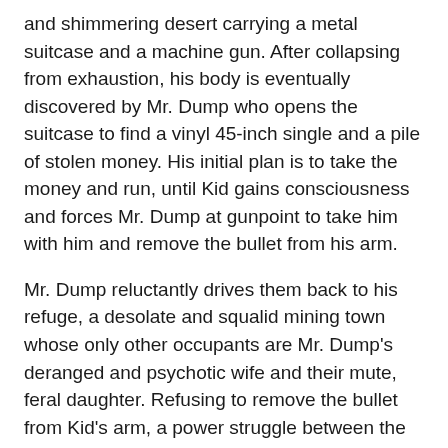and shimmering desert carrying a metal suitcase and a machine gun. After collapsing from exhaustion, his body is eventually discovered by Mr. Dump who opens the suitcase to find a vinyl 45-inch single and a pile of stolen money. His initial plan is to take the money and run, until Kid gains consciousness and forces Mr. Dump at gunpoint to take him with him and remove the bullet from his arm.
Mr. Dump reluctantly drives them back to his refuge, a desolate and squalid mining town whose only other occupants are Mr. Dump's deranged and psychotic wife and their mute, feral daughter. Refusing to remove the bullet from Kid's arm, a power struggle between the two men ensues as Mr. Dump desperately tries to exploit the situation for his own means. That is until the mysterious Mr. Sunshine arrives to split the cash and settle old scores. As night turns into day, the situation increasingly escalates towards unhinged paranoia and extreme violence, with any chance of hope obscured by blood, dust and the intrusion of bleak reality.